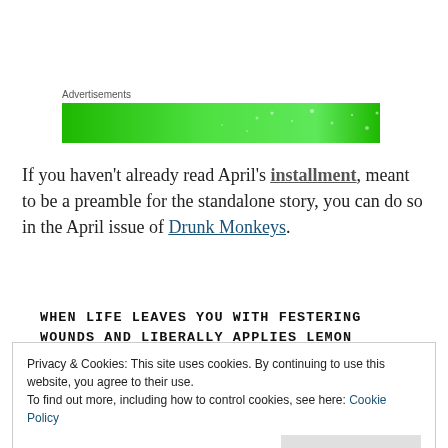Advertisements
[Figure (illustration): Green advertisement banner with lighter green spots/sparkles pattern]
If you haven't already read April's installment, meant to be a preamble for the standalone story, you can do so in the April issue of Drunk Monkeys.
WHEN LIFE LEAVES YOU WITH FESTERING WOUNDS AND LIBERALLY APPLIES LEMON JUICE, THE PETTY IDIOCY OF OTHERS CAN BE
Privacy & Cookies: This site uses cookies. By continuing to use this website, you agree to their use.
To find out more, including how to control cookies, see here: Cookie Policy
Close and accept